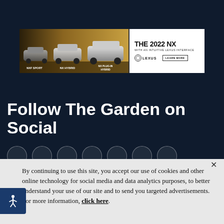[Figure (photo): Lexus advertisement banner showing three Lexus NX vehicles (NXF SPORT, NX HYBRID, NX PLUG-IN HYBRID) on a golden landscape background, with white right panel reading 'THE 2022 NX WITH AN INTUITIVE LEXUS INTERFACE' and a Lexus logo with 'LEARN MORE' button]
Follow The Garden on Social
By continuing to use this site, you accept our use of cookies and other online technology for social media and data analytics purposes, to better understand your use of our site and to send you targeted advertisements. For more information, click here.